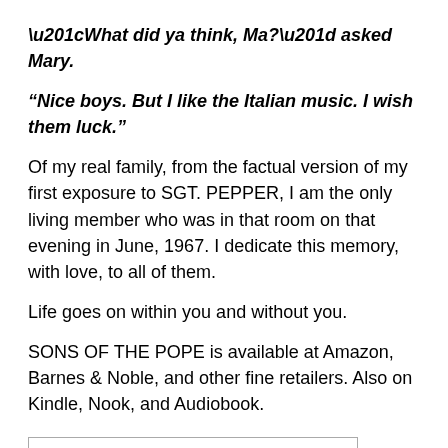“What did ya think, Ma?” asked Mary.
“Nice boys. But I like the Italian music. I wish them luck.”
Of my real family, from the factual version of my first exposure to SGT. PEPPER, I am the only living member who was in that room on that evening in June, 1967. I dedicate this memory, with love, to all of them.
Life goes on within you and without you.
SONS OF THE POPE is available at Amazon, Barnes & Noble, and other fine retailers. Also on Kindle, Nook, and Audiobook.
[Figure (other): A rectangular outlined box with a grey bar at the bottom, likely a comment or input field area.]